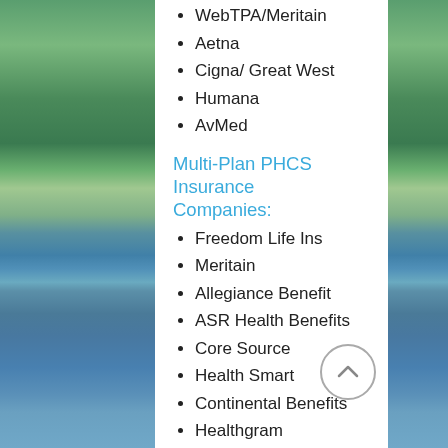WebTPA/Meritain
Aetna
Cigna/ Great West
Humana
AvMed
Multi-Plan PHCS Insurance Companies:
Freedom Life Ins
Meritain
Allegiance Benefit
ASR Health Benefits
Core Source
Health Smart
Continental Benefits
Healthgram
Letter Carriers
Loomis
First Health
Full Medicaid Health Insurance Plans: